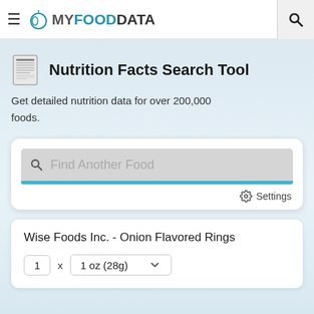MY FOOD DATA
Nutrition Facts Search Tool
Get detailed nutrition data for over 200,000 foods.
[Figure (screenshot): Search input box with placeholder text 'Find Another Food' and a blue underline bar, followed by a Settings link]
Wise Foods Inc. - Onion Flavored Rings
1 x 1 oz (28g)